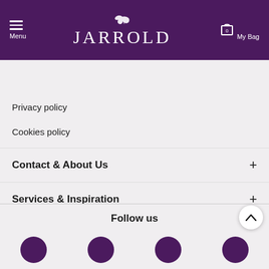JARROLD — Menu / My Bag header navigation
[Figure (screenshot): Jarrold retail website header with purple background, hamburger menu on left, Jarrold logo in centre, shopping bag icon with 0 on right]
Search by product, brand or keyword
Privacy policy
Cookies policy
Contact & About Us
Services & Inspiration
Experiences
Follow us